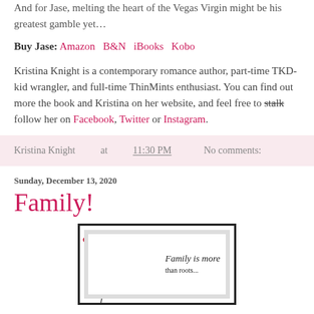And for Jase, melting the heart of the Vegas Virgin might be his greatest gamble yet…
Buy Jase: Amazon  B&N  iBooks  Kobo
Kristina Knight is a contemporary romance author, part-time TKD-kid wrangler, and full-time ThinMints enthusiast. You can find out more the book and Kristina on her website, and feel free to stalk follow her on Facebook, Twitter or Instagram.
Kristina Knight at 11:30 PM   No comments:
Sunday, December 13, 2020
Family!
[Figure (illustration): Framed artwork showing a decorative berry branch on the left and cursive text reading 'Family is more than roots...' on the right, with a dark border and inner mat.]